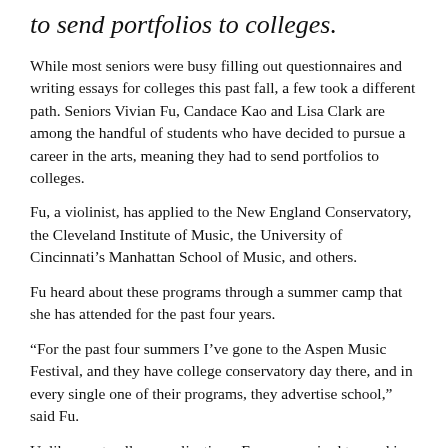to send portfolios to colleges.
While most seniors were busy filling out questionnaires and writing essays for colleges this past fall, a few took a different path. Seniors Vivian Fu, Candace Kao and Lisa Clark are among the handful of students who have decided to pursue a career in the arts, meaning they had to send portfolios to colleges.
Fu, a violinist, has applied to the New England Conservatory, the Cleveland Institute of Music, the University of Cincinnati’s Manhattan School of Music, and others.
Fu heard about these programs through a summer camp that she has attended for the past four years.
“For the past four summers I’ve gone to the Aspen Music Festival, and they have college conservatory day there, and in every single one of their programs, they advertise school,” said Fu.
Unlike most college applications, Fu was required to send in a CD of her music, as well as a formal application.
“First you send in a CD for screening. They have a required